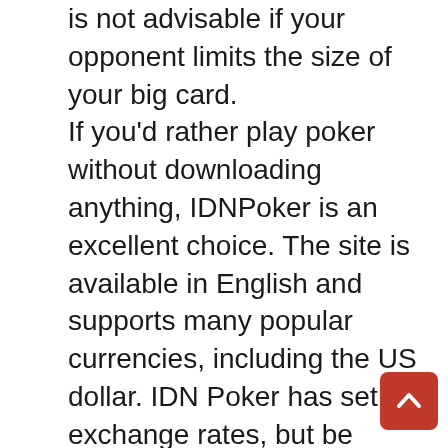is not advisable if your opponent limits the size of your big card. If you'd rather play poker without downloading anything, IDNPoker is an excellent choice. The site is available in English and supports many popular currencies, including the US dollar. IDN Poker has set exchange rates, but be cautious when you make these exchanges. The website and client have several payment options, including Skrill and Neteller. You can choose which is most convenient for you. To play poker online, you'll need an account, a credit card, and a reliable internet connection. One of the largest poker networks in Asia is IDNPoker. It is the third largest network worldwide, based on traffic. IDNPoker began in Cambodia in 2010, but it only became popular after the launch of a new site in the country. It